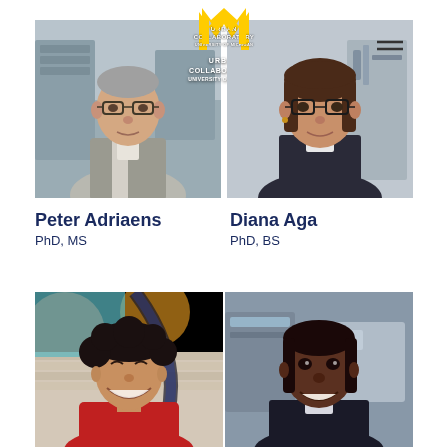[Figure (photo): Two professional headshots side by side: left shows an older man with glasses in a grey blazer in a lab/office setting with University of Michigan Urban Collaboratory logo overlay; right shows a woman with glasses in a dark blazer in a lab setting]
Peter Adriaens
PhD, MS
Diana Aga
PhD, BS
[Figure (photo): Two professional headshots side by side: left shows a smiling woman with curly dark hair and a red scarf in front of colorful graffiti wall; right shows a smiling woman in a dark blazer in a lab/industrial setting]